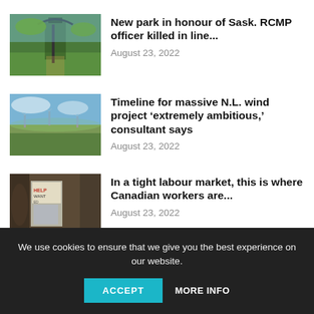[Figure (photo): Park entrance with an arch gate and trees along a pathway]
New park in honour of Sask. RCMP officer killed in line...
August 23, 2022
[Figure (photo): Aerial landscape of rolling hills and wind turbines]
Timeline for massive N.L. wind project ‘extremely ambitious,’ consultant says
August 23, 2022
[Figure (photo): Person holding a help wanted sign near a storefront]
In a tight labour market, this is where Canadian workers are...
August 23, 2022
We use cookies to ensure that we give you the best experience on our website.
ACCEPT
MORE INFO